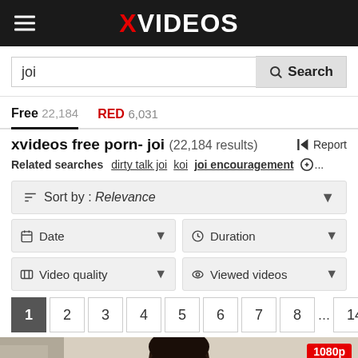XVIDEOS
joi — Search
Free 22,184   RED 6,031
xvideos free porn- joi (22,184 results)
Related searches: dirty talk joi   koi   joi encouragement   ...
Sort by : Relevance
Date   Duration
Video quality   Viewed videos
1 2 3 4 5 6 7 8 ... 149 >
[Figure (photo): Video thumbnail showing a young woman with dark hair, 1080p badge in top right corner]